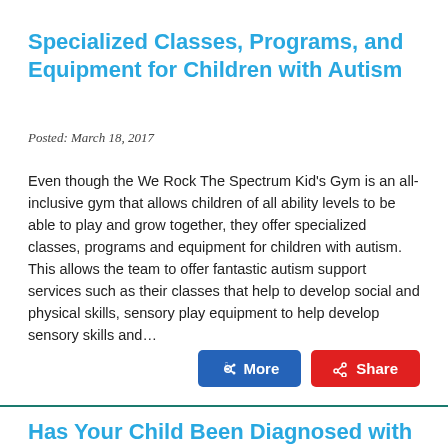Specialized Classes, Programs, and Equipment for Children with Autism
Posted: March 18, 2017
Even though the We Rock The Spectrum Kid's Gym is an all-inclusive gym that allows children of all ability levels to be able to play and grow together, they offer specialized classes, programs and equipment for children with autism. This allows the team to offer fantastic autism support services such as their classes that help to develop social and physical skills, sensory play equipment to help develop sensory skills and…
Has Your Child Been Diagnosed with